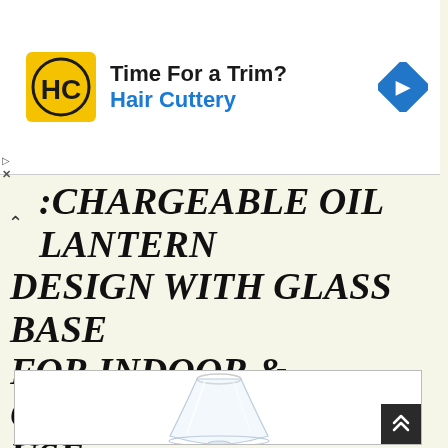[Figure (screenshot): Hair Cuttery advertisement banner with HC logo (yellow circle with black HC letters), headline 'Time For a Trim?', subheadline 'Hair Cuttery' in blue, and a blue diamond-shaped navigation arrow icon on the right. Small play and X controls at lower left.]
RECHARGEABLE OIL LANTERN DESIGN WITH GLASS BASE FOR INDOOR & OUTDOOR USE
[Figure (photo): Product photo of a clear glass lantern base (oil lantern design), cone/hourglass shape, transparent glass, photographed on white background, inside a bordered white rectangle.]